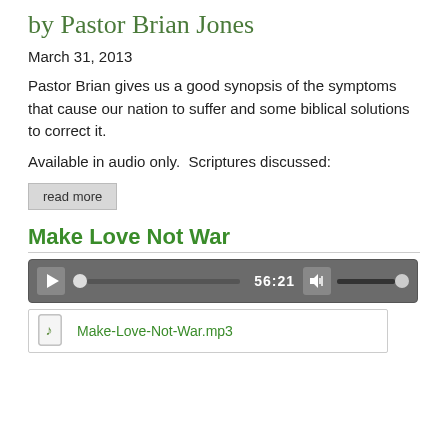by Pastor Brian Jones
March 31, 2013
Pastor Brian gives us a good synopsis of the symptoms that cause our nation to suffer and some biblical solutions to correct it.
Available in audio only.  Scriptures discussed:
read more
Make Love Not War
[Figure (other): Audio player widget showing time 56:21 with play button, progress bar, volume controls]
Make-Love-Not-War.mp3